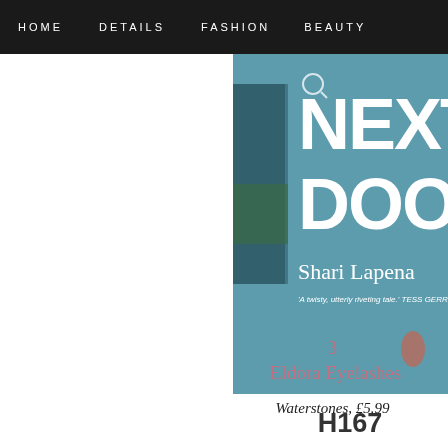HOME   DETAILS   FASHION   BEAUTY
[Figure (photo): Book cover showing 'NEXT DOOR' by Shari Lapena with a blurb from Tess Gerritsen, teal/blue color scheme]
Waterstones, £5.99
Sometimes a good book is the perfect present (obviously depending on the - I read it about a year ago but it had me hooked all the way thr
3
Eldora Eyelashes
H167